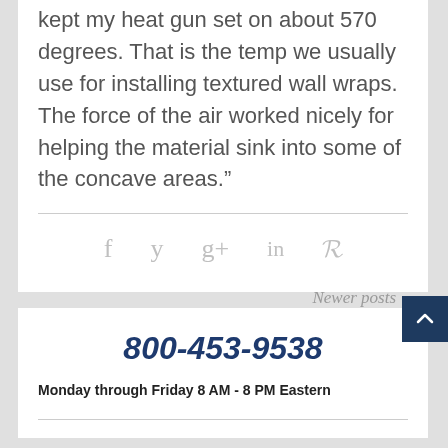kept my heat gun set on about 570 degrees. That is the temp we usually use for installing textured wall wraps. The force of the air worked nicely for helping the material sink into some of the concave areas.”
[Figure (other): Social media share icons: Facebook (f), Twitter (bird/y), Google+ (g+), LinkedIn (in), Pinterest (p) — displayed in light gray]
Newer posts
800-453-9538
Monday through Friday 8 AM - 8 PM Eastern